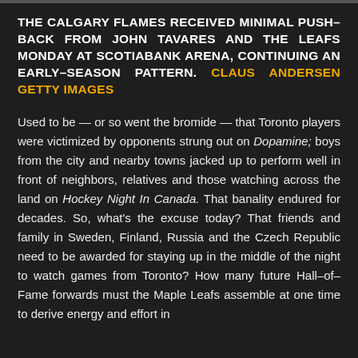THE CALGARY FLAMES RECEIVED MINIMAL PUSH-BACK FROM JOHN TAVARES AND THE LEAFS MONDAY AT SCOTIABANK ARENA, CONTINUING AN EARLY-SEASON PATTERN. CLAUS ANDERSEN GETTY IMAGES
Used to be — or so went the bromide — that Toronto players were victimized by opponents strung out on Dopamine; boys from the city and nearby towns jacked up to perform well in front of neighbors, relatives and those watching across the land on Hockey Night In Canada. That banality endured for decades. So, what's the excuse today? That friends and family in Sweden, Finland, Russia and the Czech Republic need to be awarded for staying up in the middle of the night to watch games from Toronto? How many future Hall–of–Fame forwards must the Maple Leafs assemble at one time to derive energy and effort in